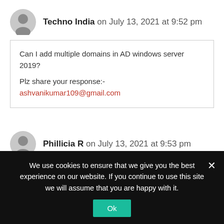Techno India on July 13, 2021 at 9:52 pm
Can I add multiple domains in AD windows server 2019?

Plz share your response:-
ashvanikumar109@gmail.com
Phillicia R on July 13, 2021 at 9:53 pm
We use cookies to ensure that we give you the best experience on our website. If you continue to use this site we will assume that you are happy with it.